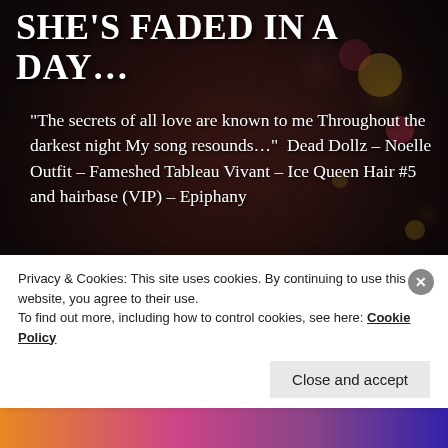[Figure (photo): Dark atmospheric background photo showing a stylized female figure (doll-like) with Christmas/holiday bokeh lights in warm gold and red tones against a dark background.]
SHE'S FADED IN A DAY…
“The secrets of all love are known to me Throughout the darkest night My song resounds…”  Dead Dollz – Noelle Outfit – Fameshed Tableau Vivant – Ice Queen Hair #5 and hairbase (VIP) – Epiphany
READ MORE  →
Privacy & Cookies: This site uses cookies. By continuing to use this website, you agree to their use.
To find out more, including how to control cookies, see here: Cookie Policy
Close and accept